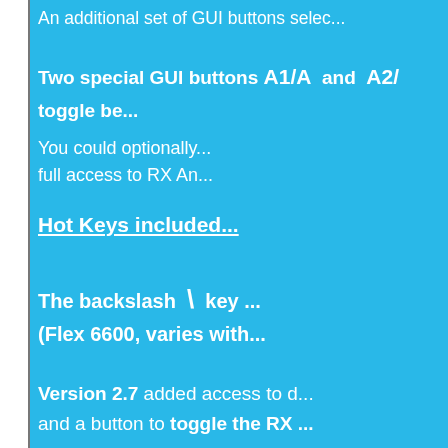An additional set of GUI buttons selec...
Two special GUI buttons A1/A and A2/A toggle be...
You could optionally full access to RX An...
Hot Keys included...
The backslash \ key (Flex 6600, varies with...
Version 2.7 added access to d... and a button to toggle the RX ...
These two are only a... The RXAssistant Window will n... It can be moved at...
Full explanation of installation and us...
[Figure (screenshot): RXAssistant 2.7 taskbar/window bar at bottom of page]